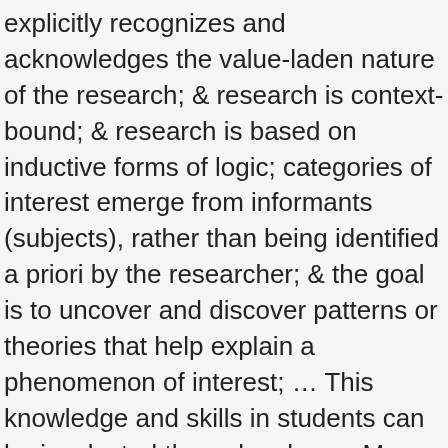explicitly recognizes and acknowledges the value-laden nature of the research; & research is context-bound; & research is based on inductive forms of logic; categories of interest emerge from informants (subjects), rather than being identified a priori by the researcher; & the goal is to uncover and discover patterns or theories that help explain a phenomenon of interest; … This knowledge and skills in students can be inculcated through value … Max Weber believed that sociology should be: (27) a. value laden. 30. Political Sociology was not an explicit science until the late 19th century, when men such as Barrington Moore Jr., Max Webber and later Christopher Dawson began to examine the complex interactions between state and society. Sociology; Technology; Browse Content Type. Becker argues being value free is undesirable as the